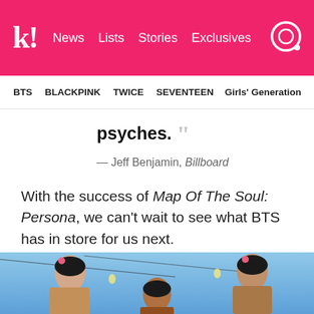k! News Lists Stories Exclusives
BTS  BLACKPINK  TWICE  SEVENTEEN  Girls' Generation
psyches. ””
— Jeff Benjamin, Billboard
With the success of Map Of The Soul: Persona, we can’t wait to see what BTS has in store for us next.
SOURCE
[Figure (photo): Photo of BTS members against a blue sky background with string lights]